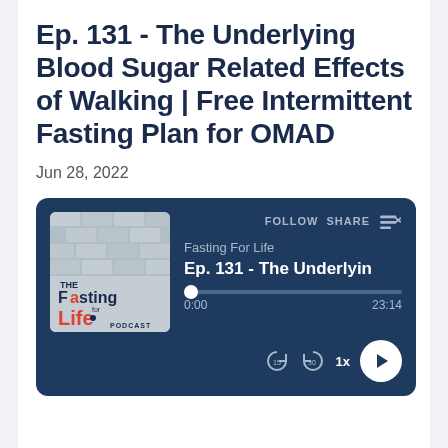Ep. 131 - The Underlying Blood Sugar Related Effects of Walking | Free Intermittent Fasting Plan for OMAD
Jun 28, 2022
[Figure (screenshot): Podcast player card for 'Fasting For Life' showing episode 131 with thumbnail artwork, progress bar at 0:00 of 23:14, playback controls including 15s rewind, 30s forward, 1x speed, and play button, with FOLLOW and SHARE options.]